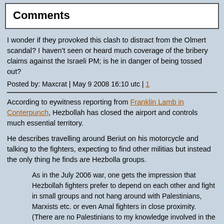Comments
I wonder if they provoked this clash to distract from the Olmert scandal? I haven't seen or heard much coverage of the bribery claims against the Israeli PM; is he in danger of being tossed out?
Posted by: Maxcrat | May 9 2008 16:10 utc | 1
According to eywitness reporting from Franklin Lamb in Conterpunch, Hezbollah has closed the airport and controls much essential territory.
He describes travelling around Beriut on his motorcycle and talking to the fighters, expecting to find other militias but instead the only thing he finds are Hezbolla groups.
As in the July 2006 war, one gets the impression that Hezbollah fighters prefer to depend on each other and fight in small groups and not hang around with Palestinians, Marxists etc. or even Amal fighters in close proximity. (There are no Palestinians to my knowledge involved in the current 'situation'). Around 10:30 am I came upon some fighters who